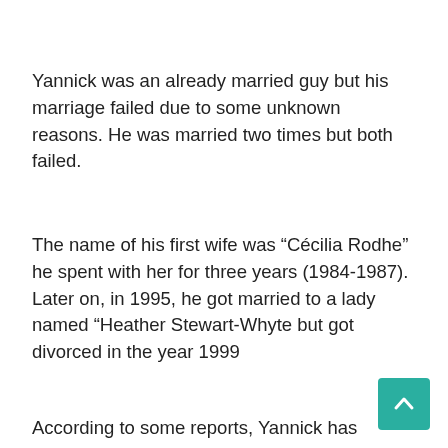Yannick was an already married guy but his marriage failed due to some unknown reasons. He was married two times but both failed.
The name of his first wife was “Cécilia Rodhe” he spent with her for three years (1984-1987). Later on, in 1995, he got married to a lady named “Heather Stewart-Whyte but got divorced in the year 1999
According to some reports, Yannick has